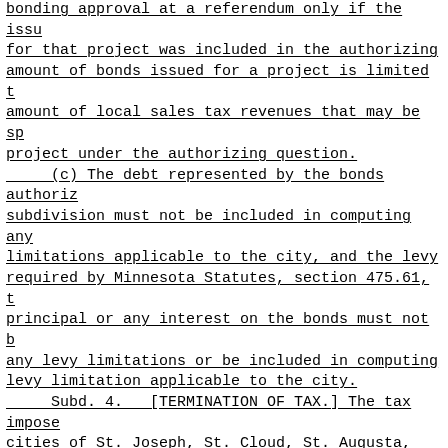bonding approval at a referendum only if the issu for that project was included in the authorizing amount of bonds issued for a project is limited t amount of local sales tax revenues that may be sp project under the authorizing question.
(c) The debt represented by the bonds authoriz subdivision must not be included in computing any limitations applicable to the city, and the levy required by Minnesota Statutes, section 475.61, t principal or any interest on the bonds must not b any levy limitations or be included in computing levy limitation applicable to the city.
Subd. 4. [TERMINATION OF TAX.] The tax impose cities of St. Joseph, St. Cloud, St. Augusta, Sar Rapids, and Waite Park under subdivision 1 expire council determines that sufficient funds have bee from the tax to retire or redeem the bonds and ob authorized under subdivision 2, paragraph (a), bu December 31, 2018.
[EFFECTIVE DATE.] This section is effective fo that approves it the day after compliance by the of each city with Minnesota Statutes, section 645 subdivision 3, for sales and purchases made on an 1, 2006. Agreements and contracts for spending m entered into and spending may not occur for the p